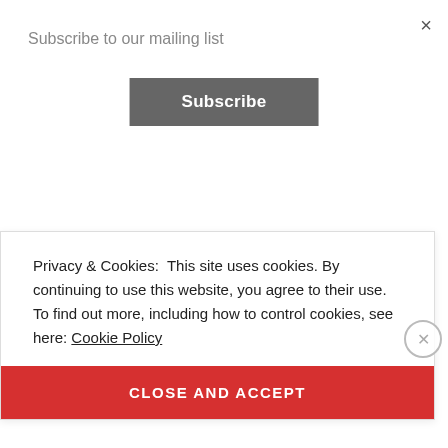Subscribe to our mailing list
Subscribe
Upon his honorable departure from the military, only one path was certain for Kevin Dozier, entertainment. He began recording in 2005 and was groomed by Stan and Latrenda McFail of SLM Productions in Dallas, TX.
Privacy & Cookies: This site uses cookies. By continuing to use this website, you agree to their use. To find out more, including how to control cookies, see here: Cookie Policy
CLOSE AND ACCEPT